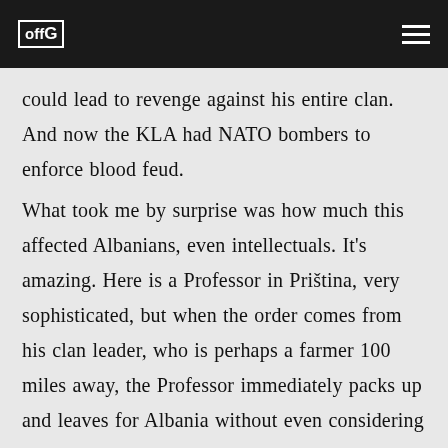offG [logo]
could lead to revenge against his entire clan. And now the KLA had NATO bombers to enforce blood feud.
What took me by surprise was how much this affected Albanians, even intellectuals. It's amazing. Here is a Professor in Priština, very sophisticated, but when the order comes from his clan leader, who is perhaps a farmer 100 miles away, the Professor immediately packs up and leaves for Albania without even considering saying no.
Israel: We didn't understand the KLA. We thought